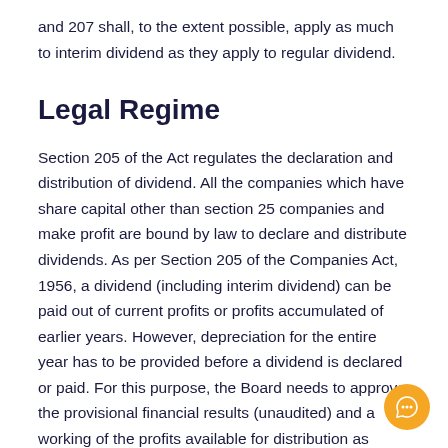and 207 shall, to the extent possible, apply as much to interim dividend as they apply to regular dividend.
Legal Regime
Section 205 of the Act regulates the declaration and distribution of dividend. All the companies which have share capital other than section 25 companies and make profit are bound by law to declare and distribute dividends. As per Section 205 of the Companies Act, 1956, a dividend (including interim dividend) can be paid out of current profits or profits accumulated of earlier years. However, depreciation for the entire year has to be provided before a dividend is declared or paid. For this purpose, the Board needs to approve the provisional financial results (unaudited) and a working of the profits available for distribution as dividend, post providing for depreciation the full year and amount required to be transferred to